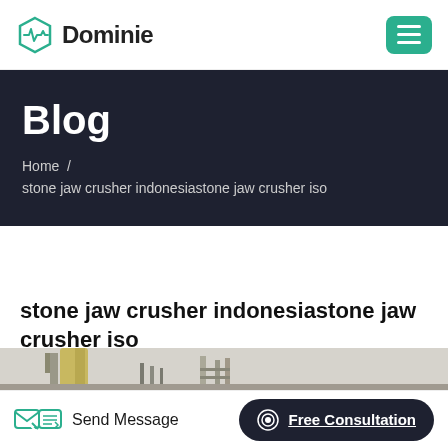Dominie
Blog
Home  /
stone jaw crusher indonesiastone jaw crusher iso
stone jaw crusher indonesiastone jaw crusher iso
[Figure (photo): Industrial stone crusher machinery photographed outdoors with yellow cylindrical structures and metal frameworks against a light sky.]
Send Message   Free Consultation